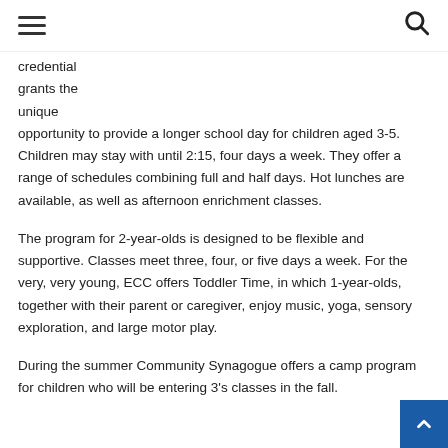≡ [menu] [search]
credential grants the unique opportunity to provide a longer school day for children aged 3-5. Children may stay with until 2:15, four days a week. They offer a range of schedules combining full and half days. Hot lunches are available, as well as afternoon enrichment classes.
The program for 2-year-olds is designed to be flexible and supportive. Classes meet three, four, or five days a week. For the very, very young, ECC offers Toddler Time, in which 1-year-olds, together with their parent or caregiver, enjoy music, yoga, sensory exploration, and large motor play.
During the summer Community Synagogue offers a camp program for children who will be entering 3's classes in the fall.
They give parents the opportunity to all of their...